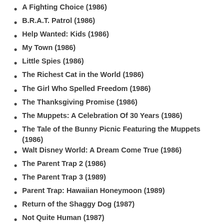A Fighting Choice (1986)
B.R.A.T. Patrol (1986)
Help Wanted: Kids (1986)
My Town (1986)
Little Spies (1986)
The Richest Cat in the World (1986)
The Girl Who Spelled Freedom (1986)
The Thanksgiving Promise (1986)
The Muppets: A Celebration Of 30 Years (1986)
The Tale of the Bunny Picnic Featuring the Muppets (1986)
Walt Disney World: A Dream Come True (1986)
The Parent Trap 2 (1986)
The Parent Trap 3 (1989)
Parent Trap: Hawaiian Honeymoon (1989)
Return of the Shaggy Dog (1987)
Not Quite Human (1987)
Not Quite Human II (1989)
Still Not Quite Human (1992)